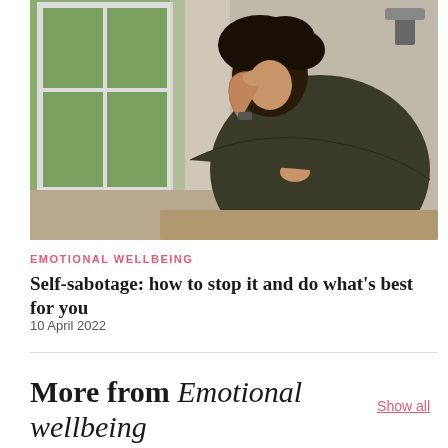[Figure (photo): Woman in dark green jacket sitting hunched over, head resting on her hand in a stressed or distressed pose, with a window with greenery visible in the background.]
EMOTIONAL WELLBEING
Self-sabotage: how to stop it and do what's best for you
10 April 2022
More from Emotional wellbeing
Show all